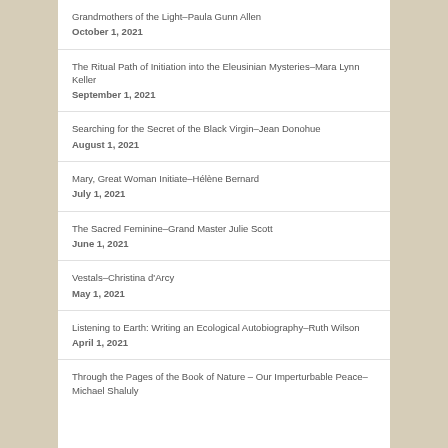Grandmothers of the Light–Paula Gunn Allen
October 1, 2021
The Ritual Path of Initiation into the Eleusinian Mysteries–Mara Lynn Keller
September 1, 2021
Searching for the Secret of the Black Virgin–Jean Donohue
August 1, 2021
Mary, Great Woman Initiate–Hélène Bernard
July 1, 2021
The Sacred Feminine–Grand Master Julie Scott
June 1, 2021
Vestals–Christina d'Arcy
May 1, 2021
Listening to Earth: Writing an Ecological Autobiography–Ruth Wilson
April 1, 2021
Through the Pages of the Book of Nature – Our Imperturbable Peace–Michael Shaluly